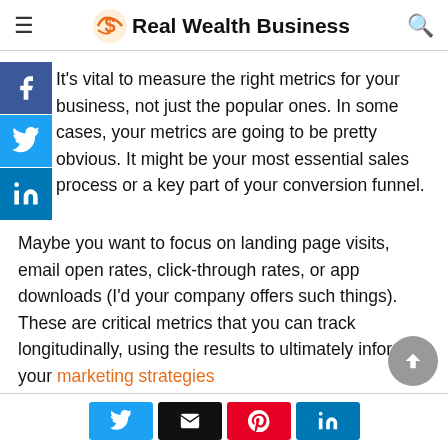Real Wealth Business
It's vital to measure the right metrics for your business, not just the popular ones. In some cases, your metrics are going to be pretty obvious. It might be your most essential sales process or a key part of your conversion funnel.
Maybe you want to focus on landing page visits, email open rates, click-through rates, or app downloads (I'd your company offers such things). These are critical metrics that you can track longitudinally, using the results to ultimately inform your marketing strategies